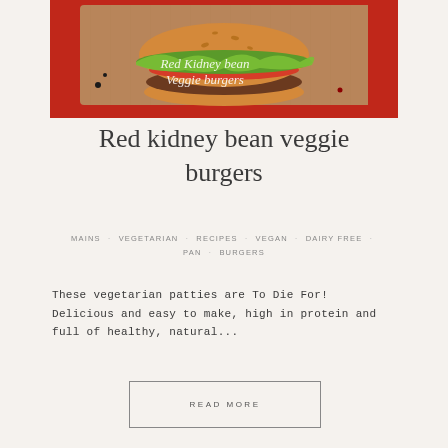[Figure (photo): A burger with lettuce and tomato on a wooden cutting board on a red background, with text overlay reading 'Red Kidney bean Veggie burgers']
Red kidney bean veggie burgers
MAINS · VEGETARIAN · RECIPES · VEGAN · DAIRY FREE · PAN · BURGERS
These vegetarian patties are To Die For! Delicious and easy to make, high in protein and full of healthy, natural...
READ MORE